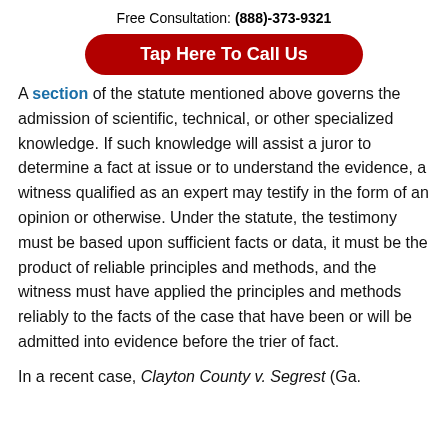Free Consultation: (888)-373-9321
[Figure (other): Red rounded rectangle button reading 'Tap Here To Call Us' in white bold text]
A section of the statute mentioned above governs the admission of scientific, technical, or other specialized knowledge. If such knowledge will assist a juror to determine a fact at issue or to understand the evidence, a witness qualified as an expert may testify in the form of an opinion or otherwise. Under the statute, the testimony must be based upon sufficient facts or data, it must be the product of reliable principles and methods, and the witness must have applied the principles and methods reliably to the facts of the case that have been or will be admitted into evidence before the trier of fact.
In a recent case, Clayton County v. Segrest (Ga.